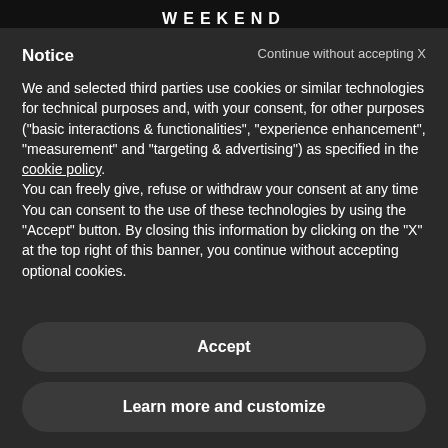WEEKEND
Notice
Continue without accepting X
We and selected third parties use cookies or similar technologies for technical purposes and, with your consent, for other purposes ("basic interactions & functionalities", "experience enhancement", "measurement" and "targeting & advertising") as specified in the cookie policy.
You can freely give, refuse or withdraw your consent at any time
You can consent to the use of these technologies by using the "Accept" button. By closing this information by clicking on the "X" at the top right of this banner, you continue without accepting optional cookies.
Accept
Learn more and customize